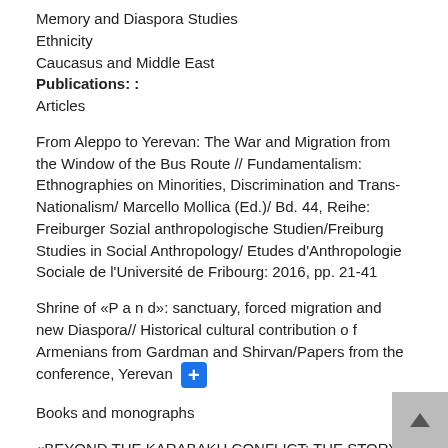Memory and Diaspora Studies
Ethnicity
Caucasus and Middle East
Publications: :
Articles
From Aleppo to Yerevan: The War and Migration from the Window of the Bus Route // Fundamentalism: Ethnographies on Minorities, Discrimination and Trans-Nationalism/ Marcello Mollica (Ed.)/ Bd. 44, Reihe: Freiburger Sozial anthropologische Studien/Freiburg Studies in Social Anthropology/ Etudes d'Anthropologie Sociale de l'Université de Fribourg: 2016, pp. 21-41
Shrine of «P a n d»: sanctuary, forced migration and new Diaspora// Historical cultural contribution o f Armenians from Gardman and Shirvan/Papers from the conference, Yerevan
Books and monographs
«BEYOND THE KARABAKH CONFLICT: THE STORY VILLAGE EXCHANGE» Tbilisi, 2012, H. Boell Foundation South Caucasus, [the second edition of Russian language publication] (co. S. Huseynova, S. Rumyantsev). [in English].